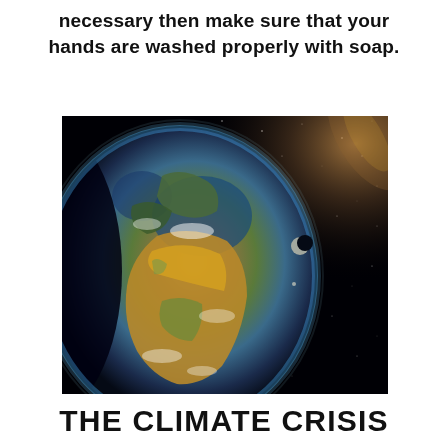necessary then make sure that your hands are washed properly with soap.
[Figure (illustration): A dramatic space view of Earth from orbit showing continents including Europe and Africa with golden-brown deserts, green vegetation, and blue oceans. The right side shows a star field, the Milky Way galaxy glowing in the upper right, and a crescent moon visible in the distance.]
THE CLIMATE CRISIS